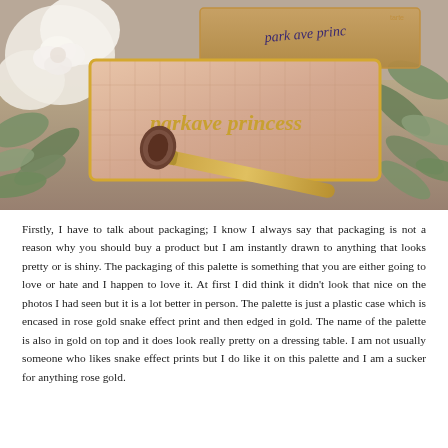[Figure (photo): A photograph of a 'park ave princess' rose gold snake-effect makeup palette with gold lettering on top, a gold-handled makeup brush, white roses, and green eucalyptus leaves arranged on a wooden surface. A box with 'park ave princess' written in cursive is visible in the background.]
Firstly, I have to talk about packaging; I know I always say that packaging is not a reason why you should buy a product but I am instantly drawn to anything that looks pretty or is shiny. The packaging of this palette is something that you are either going to love or hate and I happen to love it. At first I did think it didn't look that nice on the photos I had seen but it is a lot better in person. The palette is just a plastic case which is encased in rose gold snake effect print and then edged in gold. The name of the palette is also in gold on top and it does look really pretty on a dressing table. I am not usually someone who likes snake effect prints but I do like it on this palette and I am a sucker for anything rose gold.